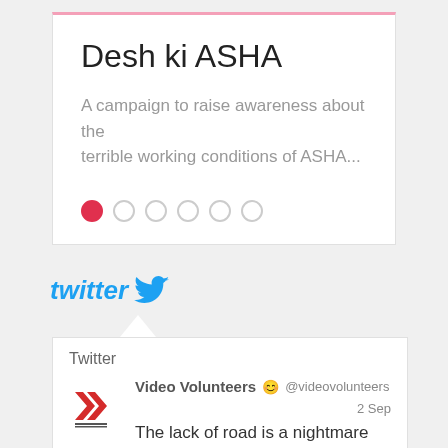Desh ki ASHA
A campaign to raise awareness about the terrible working conditions of ASHA...
[Figure (other): Carousel pagination dots: one filled red dot followed by five empty circle dots]
[Figure (logo): Twitter logo with bird icon in blue]
Twitter
Video Volunteers 😊 @videovolunteers  2 Sep
The lack of road is a nightmare for the school going children, elders and the patients of Gram Panchayat Hangwa, please make this road @PWDGgGov